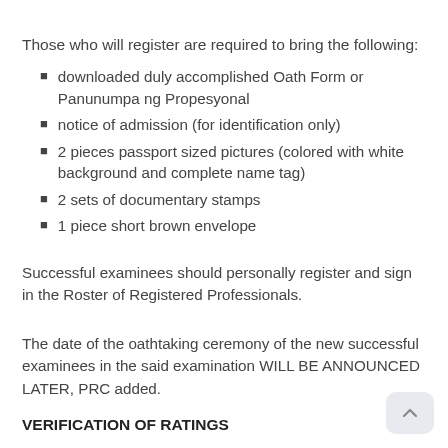Those who will register are required to bring the following:
downloaded duly accomplished Oath Form or Panunumpa ng Propesyonal
notice of admission (for identification only)
2 pieces passport sized pictures (colored with white background and complete name tag)
2 sets of documentary stamps
1 piece short brown envelope
Successful examinees should personally register and sign in the Roster of Registered Professionals.
The date of the oathtaking ceremony of the new successful examinees in the said examination WILL BE ANNOUNCED LATER, PRC added.
VERIFICATION OF RATINGS
Visit PRC's "Verification of Rating" service on official